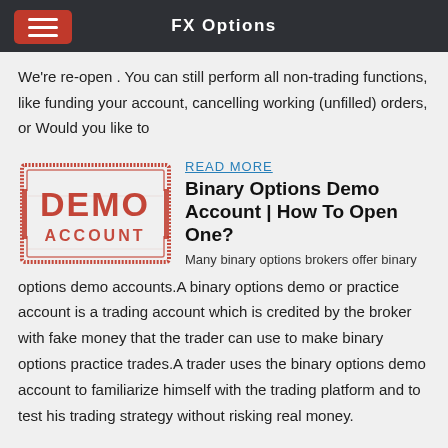FX Options
We're re-open . You can still perform all non-trading functions, like funding your account, cancelling working (unfilled) orders, or Would you like to
[Figure (illustration): Red stamp graphic reading DEMO ACCOUNT with distressed/grunge texture effect, rectangular border]
READ MORE
Binary Options Demo Account | How To Open One?
Many binary options brokers offer binary options demo accounts.A binary options demo or practice account is a trading account which is credited by the broker with fake money that the trader can use to make binary options practice trades.A trader uses the binary options demo account to familiarize himself with the trading platform and to test his trading strategy without risking real money.